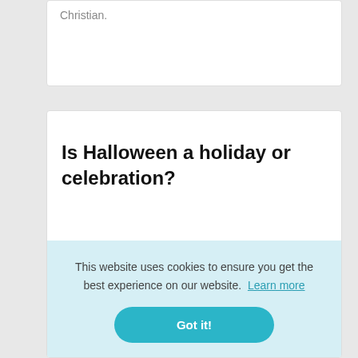Christian.
Is Halloween a holiday or celebration?
[Figure (other): Twitter and Blogger social share icons]
Holiday or celebration? The distinction between holiday and celebration is loose,
This website uses cookies to ensure you get the best experience on our website. Learn more
Got it!